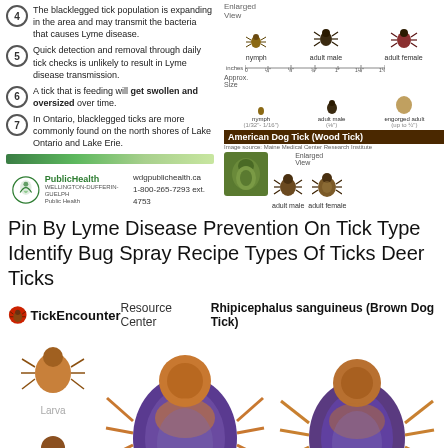4 The blacklegged tick population is expanding in the area and may transmit the bacteria that causes Lyme disease.
5 Quick detection and removal through daily tick checks is unlikely to result in Lyme disease transmission.
6 A tick that is feeding will get swollen and oversized over time.
7 In Ontario, blacklegged ticks are more commonly found on the north shores of Lake Ontario and Lake Erie.
[Figure (infographic): Blacklegged tick size comparison showing nymph, adult male, adult female in enlarged view and approx size with ruler scale in inches. Also shows American Dog Tick (Wood Tick) with photo and enlarged view of adult male and adult female.]
wdgpublichealth.ca 1-800-265-7293 ext. 4753
Pin By Lyme Disease Prevention On Tick Type Identify Bug Spray Recipe Types Of Ticks Deer Ticks
[Figure (infographic): TickEncounter Resource Center logo and Rhipicephalus sanguineus (Brown Dog Tick) infographic showing larva, nymph, and adult male and female ticks in enlarged photographic illustrations.]
Rhipicephalus sanguineus (Brown Dog Tick)
Larva